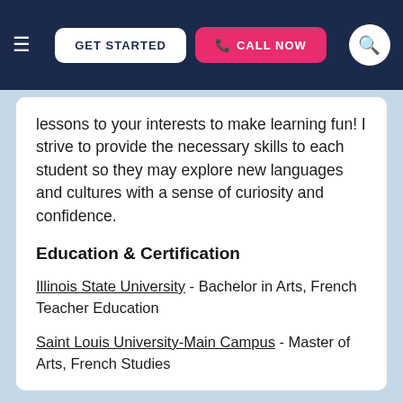GET STARTED   CALL NOW
lessons to your interests to make learning fun! I strive to provide the necessary skills to each student so they may explore new languages and cultures with a sense of curiosity and confidence.
Education & Certification
Illinois State University - Bachelor in Arts, French Teacher Education
Saint Louis University-Main Campus - Master of Arts, French Studies
View this Kansas City Languages Tutor ▶